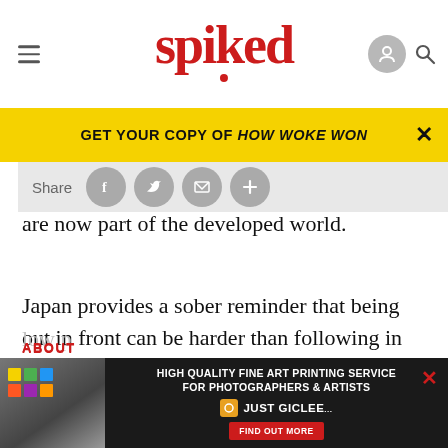spiked
GET YOUR COPY OF HOW WOKE WON
at the experience of nations that are now part of the developed world.
Japan provides a sober reminder that being out in front can be harder than following in the wake of others. It is often forgotten that before Japanese multinationals dominated electronics and mass car production, Japanese industry was based upon the production of cheap textiles. As Japan moved from
low p...
ABOUT
[Figure (screenshot): Advertisement for Just Giclee fine art printing service at bottom of page]